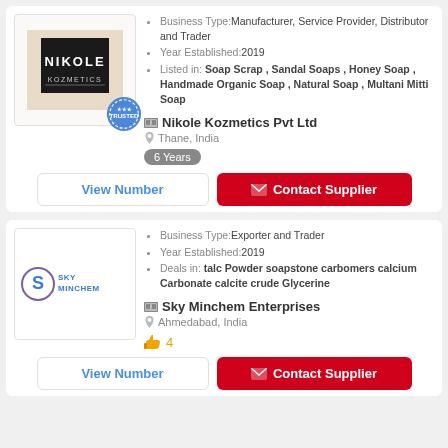[Figure (logo): Nikole Kozmetics Pvt Ltd logo - black square with NIKOLE KOZMETICS text on beige background, with TRUSTED badge]
Business Type: Manufacturer, Service Provider, Distributor and Trader
Year Established: 2019
Listed in: Soap Scrap , Sandal Soaps , Honey Soap , Handmade Organic Soap , Natural Soap , Multani Mitti Soap
Nikole Kozmetics Pvt Ltd
Thane, India
6 Years
View Number
Contact Supplier
[Figure (logo): Sky Minchem Enterprises logo - S icon with sky minchem text in blue/purple]
Business Type: Exporter and Trader
Year Established: 2019
Deals in: talc Powder soapstone carbomers calcium Carbonate calcite crude Glycerine
Sky Minchem Enterprises
Ahmedabad, India
4
View Number
Contact Supplier